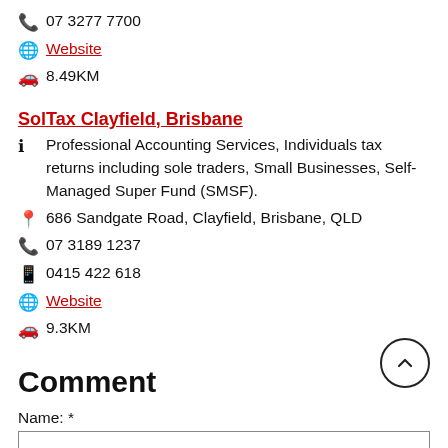📞 07 3277 7700
🌐 Website
🚗 8.49KM
SolTax Clayfield, Brisbane
ℹ Professional Accounting Services, Individuals tax returns including sole traders, Small Businesses, Self-Managed Super Fund (SMSF).
📍 686 Sandgate Road, Clayfield, Brisbane, QLD
📞 07 3189 1237
📱 0415 422 618
🌐 Website
🚗 9.3KM
Comment
Name: *